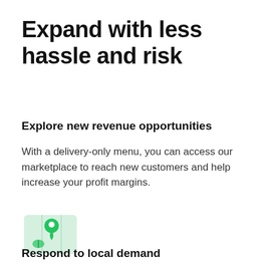Expand with less hassle and risk
Explore new revenue opportunities
With a delivery-only menu, you can access our marketplace to reach new customers and help increase your profit margins.
[Figure (illustration): Green map/location icon with a pin and a leaf or plant symbol, on a light green background tile]
Respond to local demand